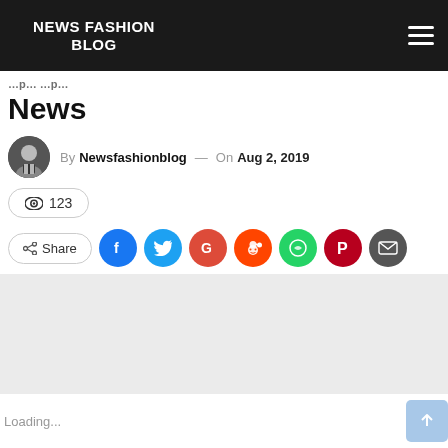NEWS FASHION BLOG
News
By Newsfashionblog — On Aug 2, 2019
👁 123
Share
Loading...